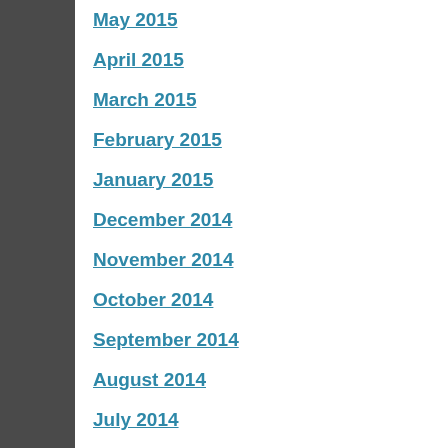May 2015
April 2015
March 2015
February 2015
January 2015
December 2014
November 2014
October 2014
September 2014
August 2014
July 2014
June 2014
May 2014
April 2014
March 2014
February 2014